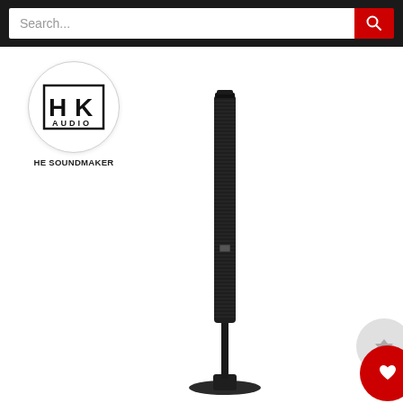Search...
[Figure (logo): HK Audio logo — circular white badge with HK in bold black letters and AUDIO below, tagline THE SOUNDMAKER]
[Figure (photo): HK Audio column speaker/line array product — tall slender black column speaker standing on a round base, photographed on white background]